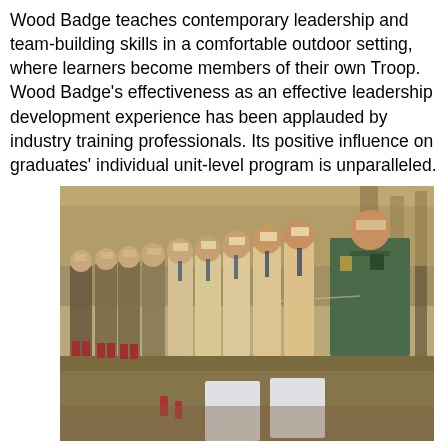Wood Badge teaches contemporary leadership and team-building skills in a comfortable outdoor setting, where learners become members of their own Troop. Wood Badge's effectiveness as an effective leadership development experience has been applauded by industry training professionals. Its positive influence on graduates' individual unit-level program is unparalleled.
[Figure (photo): A group of Boy Scout leaders and participants in uniform standing outdoors in a wooded area, smiling and gathered together during a Wood Badge training event. One leader on the right wears a green shirt; others wear tan/khaki scout uniforms with neckerchiefs and red socks. White boards are visible in the foreground.]